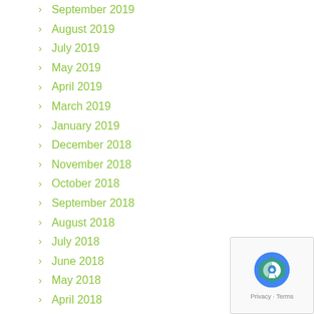September 2019
August 2019
July 2019
May 2019
April 2019
March 2019
January 2019
December 2018
November 2018
October 2018
September 2018
August 2018
July 2018
June 2018
May 2018
April 2018
March 2018
January 2018
December 2017
November 2017